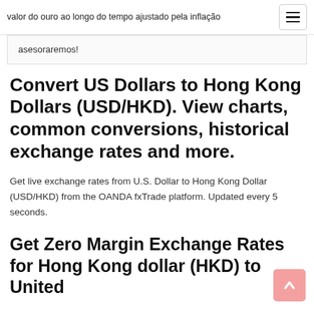valor do ouro ao longo do tempo ajustado pela inflação
asesoraremos!
Convert US Dollars to Hong Kong Dollars (USD/HKD). View charts, common conversions, historical exchange rates and more.
Get live exchange rates from U.S. Dollar to Hong Kong Dollar (USD/HKD) from the OANDA fxTrade platform. Updated every 5 seconds.
Get Zero Margin Exchange Rates for Hong Kong dollar (HKD) to United